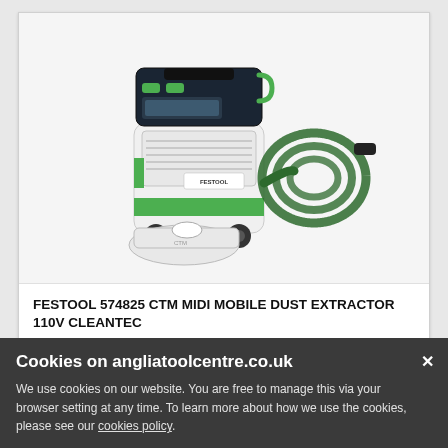[Figure (photo): Festool CTM Midi Mobile Dust Extractor product photo showing the dust extractor unit (white and black with green accents on wheels), a coiled green suction hose, and a filter bag, on a light grey background.]
FESTOOL 574825 CTM MIDI MOBILE DUST EXTRACTOR 110V CLEANTEC
Cookies on angliatoolcentre.co.uk
We use cookies on our website. You are free to manage this via your browser setting at any time. To learn more about how we use the cookies, please see our cookies policy.
£538.80  inc VAT